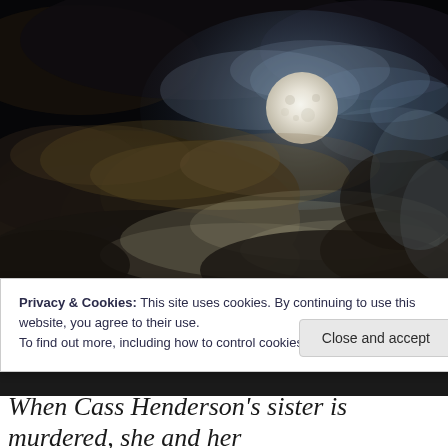[Figure (photo): Night sky photograph showing a full moon partially obscured by dramatic dark and light clouds against a black sky. The moon appears in the upper-right area of the image with a blue-grey glow illuminating surrounding clouds. Dark storm clouds swirl below with warm brown/tan hues at the edges.]
Privacy & Cookies: This site uses cookies. By continuing to use this website, you agree to their use.
To find out more, including how to control cookies, see here: Cookie Policy

Close and accept
When Cass Henderson's sister is murdered, she and her